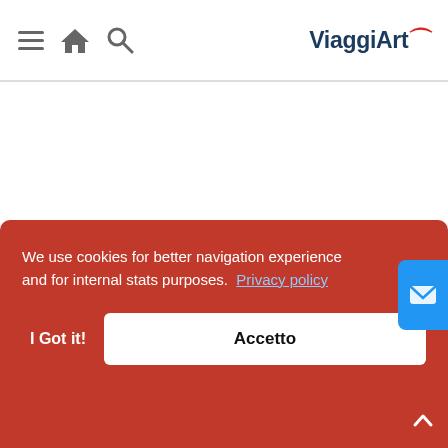ViaggiArt navigation bar with hamburger menu, home icon, search icon, and ViaggiArt logo
We use cookies for better navigation experience and for internal stats purposes.  Privacy policy
I Got it!
Accetto